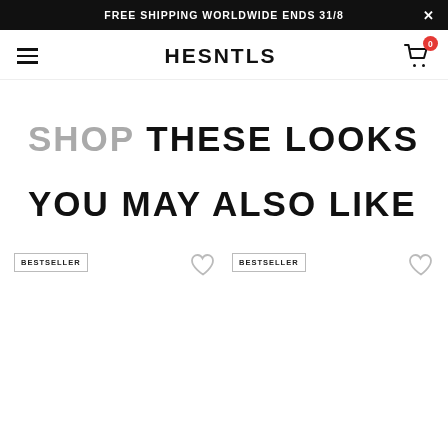FREE SHIPPING WORLDWIDE ENDS 31/8
HESNTLS
SHOP THESE LOOKS
YOU MAY ALSO LIKE
BESTSELLER
BESTSELLER